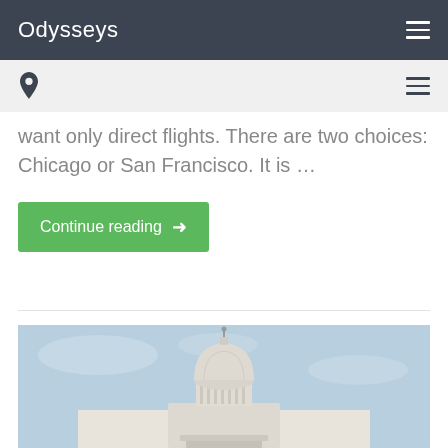Odysseys
want only direct flights. There are two choices: Chicago or San Francisco. It is ...
Continue reading →
[Figure (photo): Photograph of the United States Capitol building dome against a light blue sky]